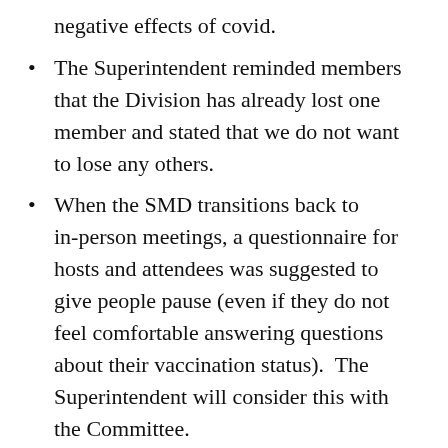negative effects of covid.
The Superintendent reminded members that the Division has already lost one member and stated that we do not want to lose any others.
When the SMD transitions back to in-person meetings, a questionnaire for hosts and attendees was suggested to give people pause (even if they do not feel comfortable answering questions about their vaccination status).  The Superintendent will consider this with the Committee.
Consulting the CDC status tracker was suggested as a way to plan for the future.
Also suggested was gathering in small groups or pods.